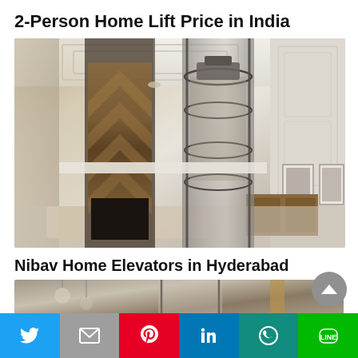2-Person Home Lift Price in India
[Figure (photo): Interior photo of a luxury home with a glass/metal pneumatic elevator shaft in the center, showing a double-height living room with decorative wooden wall panel and marble elements]
Nibav Home Elevators in Hyderabad
[Figure (photo): Partial interior photo showing home elevator installation, cropped at bottom of page]
Social share bar: Twitter, Email, Pinterest, LinkedIn, WhatsApp, LINE